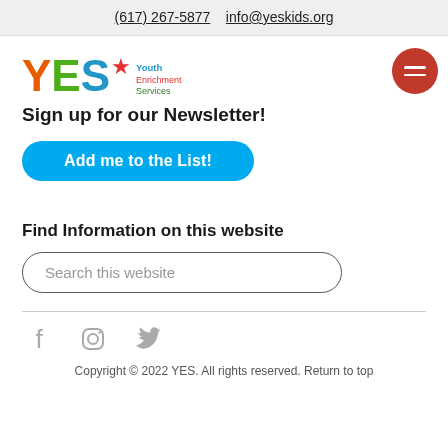(617) 267-5877    info@yeskids.org
[Figure (logo): YES Youth Enrichment Services logo with colorful lettering and star]
Sign up for our Newsletter!
Add me to the List!
Find Information on this website
Search this website
[Figure (illustration): Social media icons: Facebook, Instagram, Twitter]
Copyright © 2022 YES. All rights reserved. Return to top